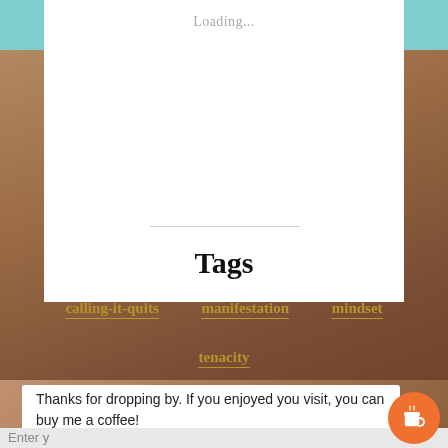Loading...
Tags
calling-it-quits
manifestation
mindset
tenacity
Thanks for dropping by. If you enjoyed you visit, you can buy me a coffee!
Enter y